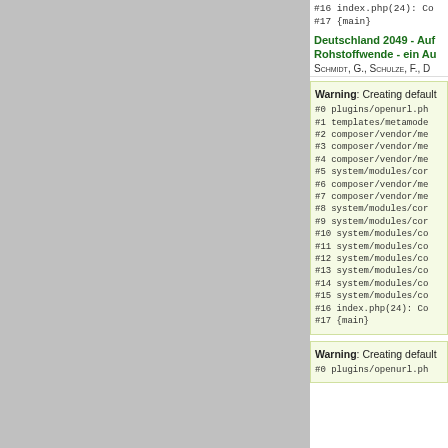#16 index.php(24): Co
#17 {main}
Deutschland 2049 - Auf
Rohstoffwende - ein Au
Schmidt, G., Schulze, F., D
Warning: Creating default
#0 plugins/openurl.ph
#1 templates/metamode
#2 composer/vendor/me
#3 composer/vendor/me
#4 composer/vendor/me
#5 system/modules/cor
#6 composer/vendor/me
#7 composer/vendor/me
#8 system/modules/cor
#9 system/modules/cor
#10 system/modules/co
#11 system/modules/co
#12 system/modules/co
#13 system/modules/co
#14 system/modules/co
#15 system/modules/co
#16 index.php(24): Co
#17 {main}
Warning: Creating default
#0 plugins/openurl.ph